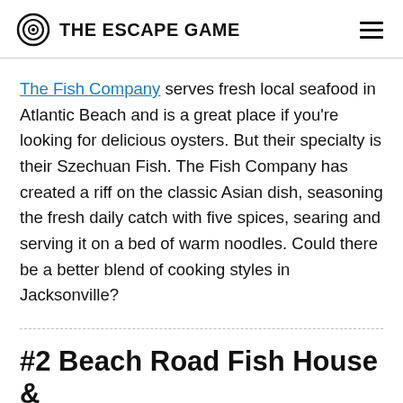THE ESCAPE GAME
The Fish Company serves fresh local seafood in Atlantic Beach and is a great place if you're looking for delicious oysters. But their specialty is their Szechuan Fish. The Fish Company has created a riff on the classic Asian dish, seasoning the fresh daily catch with five spices, searing and serving it on a bed of warm noodles. Could there be a better blend of cooking styles in Jacksonville?
#2 Beach Road Fish House &